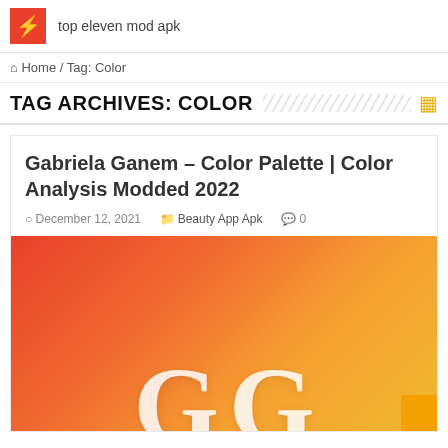top eleven mod apk
Home / Tag: Color
TAG ARCHIVES: COLOR
Gabriela Ganem – Color Palette | Color Analysis Modded 2022
December 12, 2021  Beauty App Apk  0
[Figure (illustration): App thumbnail with orange-red gradient background and large white 'GG' letters]